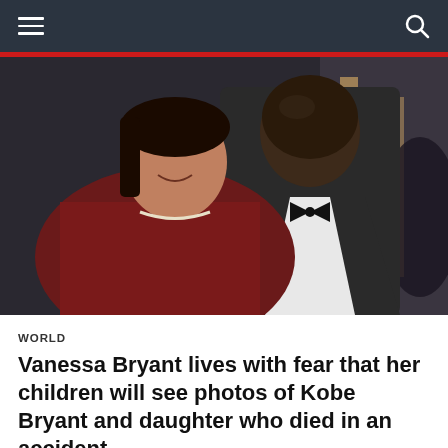Navigation bar with hamburger menu and search icon
[Figure (photo): Vanessa Bryant and Kobe Bryant posing together at a formal event. Vanessa wears a dark red off-shoulder dress with a diamond necklace. Kobe wears a dark suit with bow tie. A crowd is visible in the background.]
WORLD
Vanessa Bryant lives with fear that her children will see photos of Kobe Bryant and daughter who died in an accident
Web Desk – August 20, 2022